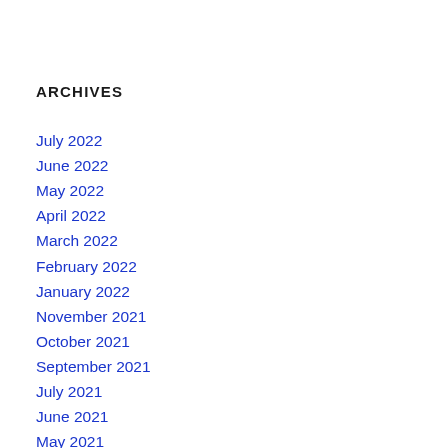ARCHIVES
July 2022
June 2022
May 2022
April 2022
March 2022
February 2022
January 2022
November 2021
October 2021
September 2021
July 2021
June 2021
May 2021